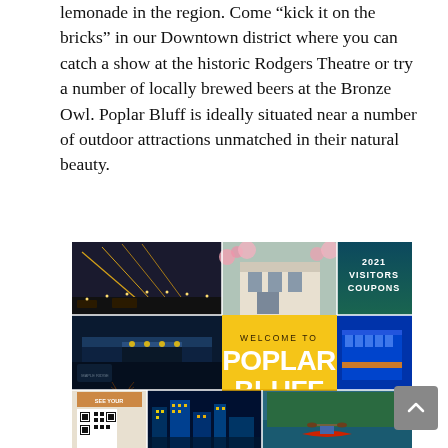lemonade in the region. Come “kick it on the bricks” in our Downtown district where you can catch a show at the historic Rodgers Theatre or try a number of locally brewed beers at the Bronze Owl. Poplar Bluff is ideally situated near a number of outdoor attractions unmatched in their natural beauty.
[Figure (photo): Poplar Bluff Missouri 2021 Visitors Coupons welcome guide collage showing a bridge at night, a historic white building, scenic river/nature photos, elk, city skyline, kayak, and a central yellow panel reading WELCOME TO POPLAR BLUFF MISSOURI with VisitButlerCountyMo.com and SeeTheOzarks.com]